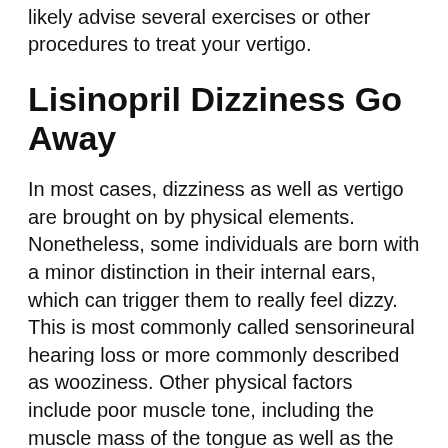likely advise several exercises or other procedures to treat your vertigo.
Lisinopril Dizziness Go Away
In most cases, dizziness as well as vertigo are brought on by physical elements. Nonetheless, some individuals are born with a minor distinction in their internal ears, which can trigger them to really feel dizzy. This is most commonly called sensorineural hearing loss or more commonly described as wooziness. Other physical factors include poor muscle tone, including the muscle mass of the tongue as well as the face muscular tissues, and/or abnormalities of vision. Some symptoms that are taken into consideration milder versions of wooziness are: the